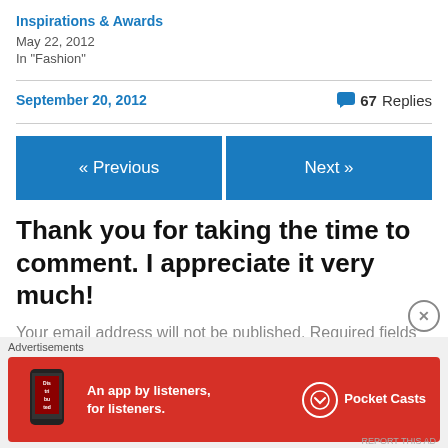Inspirations & Awards
May 22, 2012
In "Fashion"
September 20, 2012   💬 67 Replies
« Previous
Next »
Thank you for taking the time to comment. I appreciate it very much!
Your email address will not be published. Required fields are marked *
Advertisements
[Figure (infographic): Pocket Casts advertisement banner: red background with phone image showing 'Distributed' text, tagline 'An app by listeners, for listeners.' and Pocket Casts logo]